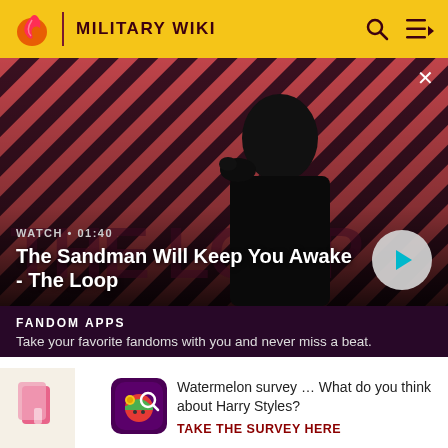MILITARY WIKI
[Figure (screenshot): Video thumbnail showing a dark-cloaked figure with a crow on shoulder against diagonal striped red/purple background. Text overlay shows WATCH • 01:40 and title 'The Sandman Will Keep You Awake - The Loop' with a play button.]
WATCH • 01:40
The Sandman Will Keep You Awake - The Loop
FANDOM APPS
Take your favorite fandoms with you and never miss a beat.
Watermelon survey … What do you think about Harry Styles?
TAKE THE SURVEY HERE